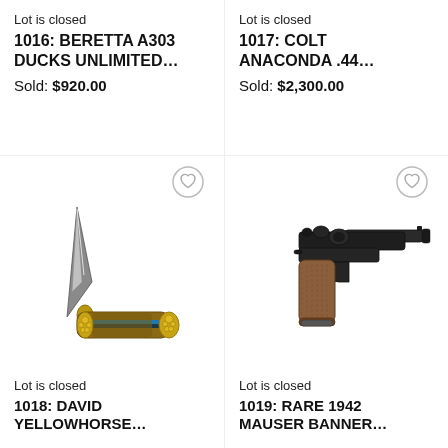Lot is closed
1016: BERETTA A303 DUCKS UNLIMITED…
Sold: $920.00
Lot is closed
1017: COLT ANACONDA .44…
Sold: $2,300.00
[Figure (photo): Folding knife with decorative blue, gold, and brown handle — David Yellowhorse style]
[Figure (photo): Luger-style semi-automatic pistol with wooden grip — Rare 1942 Mauser Banner]
Lot is closed
1018: DAVID YELLOWHORSE…
Lot is closed
1019: RARE 1942 MAUSER BANNER…